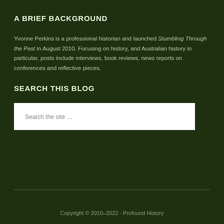A BRIEF BACKGROUND
Yvonne Perkins is a professional historian and launched Stumbling Through the Past in August 2010. Focusing on history, and Australian history in particular, posts include interviews, book reviews, news reports on conferences and reflective pieces.
SEARCH THIS BLOG
Search the site ...
Copyright © 2010–2022 · Profound History